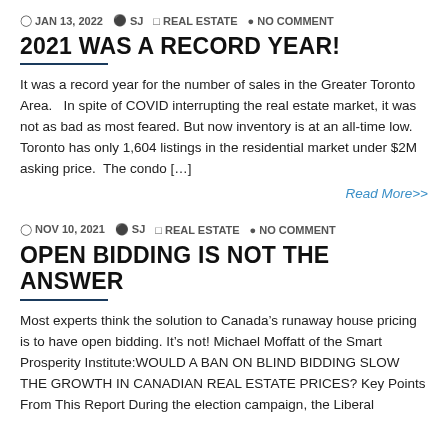JAN 13, 2022  SJ  REAL ESTATE  NO COMMENT
2021 WAS A RECORD YEAR!
It was a record year for the number of sales in the Greater Toronto Area.   In spite of COVID interrupting the real estate market, it was not as bad as most feared. But now inventory is at an all-time low. Toronto has only 1,604 listings in the residential market under $2M asking price.  The condo [...]
Read More>>
NOV 10, 2021  SJ  REAL ESTATE  NO COMMENT
OPEN BIDDING IS NOT THE ANSWER
Most experts think the solution to Canada's runaway house pricing is to have open bidding. It's not! Michael Moffatt of the Smart Prosperity Institute:WOULD A BAN ON BLIND BIDDING SLOW THE GROWTH IN CANADIAN REAL ESTATE PRICES? Key Points From This Report During the election campaign, the Liberal